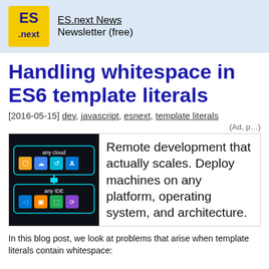ES.next News
Newsletter (free)
Handling whitespace in ES6 template literals
[2016-05-15] dev, javascript, esnext, template literals
(Ad, p…)
[Figure (screenshot): Ad image showing cloud IDE connections: 'any cloud' with icons and 'any IDE' with icons, connected by lines on dark background]
Remote development that actually scales. Deploy machines on any platform, operating system, and architecture.
In this blog post, we look at problems that arise when template literals contain whitespace: